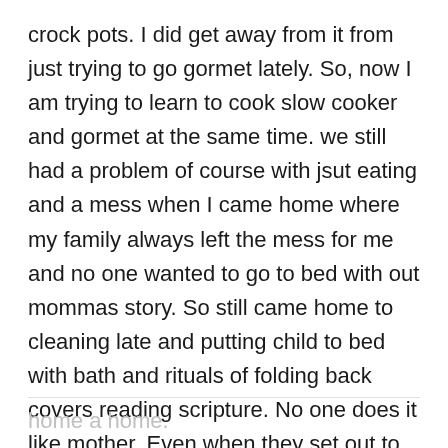crock pots. I did get away from it from just trying to go gormet lately. So, now I am trying to learn to cook slow cooker and gormet at the same time. we still had a problem of course with jsut eating and a mess when I came home where my family always left the mess for me and no one wanted to go to bed with out mommas story. So still came home to cleaning late and putting child to bed with bath and rituals of folding back covers reading scripture. No one does it like mother. Even when they set out to they find it is so much more than they imagined. It takes a mother too make a
home a home.